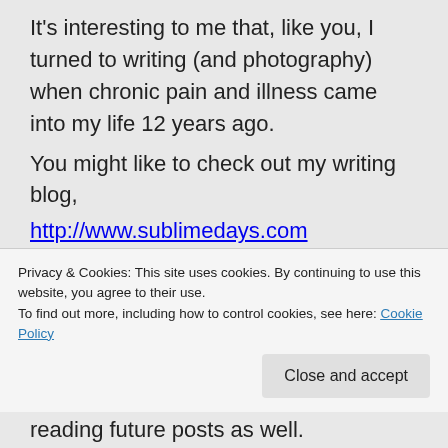It's interesting to me that, like you, I turned to writing (and photography) when chronic pain and illness came into my life 12 years ago.
You might like to check out my writing blog,
http://www.sublimedays.com
For five years I kept a photo/blog,
http://www.SilverLining-MaryMcAvoy.com,
which resulted in my first experiences in realizing that I felt no pain when looking through the lens of a camera and...
Privacy & Cookies: This site uses cookies. By continuing to use this website, you agree to their use.
To find out more, including how to control cookies, see here: Cookie Policy
Close and accept
reading future posts as well.